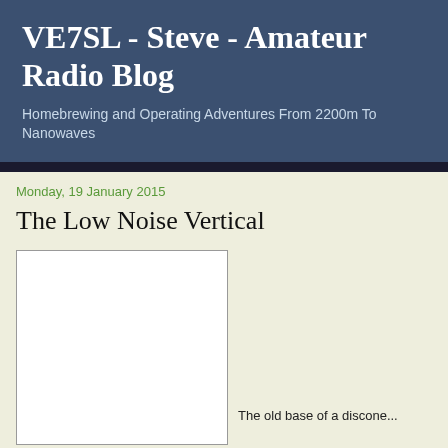VE7SL - Steve - Amateur Radio Blog
Homebrewing and Operating Adventures From 2200m To Nanowaves
Monday, 19 January 2015
The Low Noise Vertical
[Figure (photo): White image box, partially visible blog post image]
The old base of a discone...